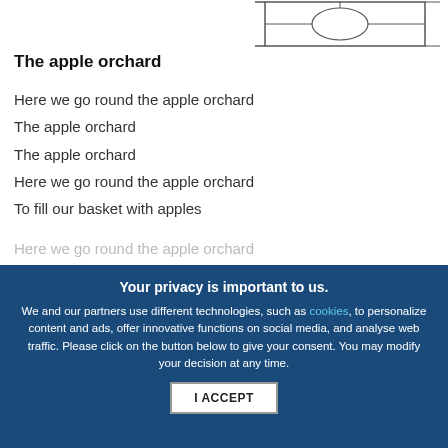[Figure (illustration): Partial sketch/line drawing of an object in the top right corner, partially cropped]
The apple orchard
Here we go round the apple orchard
The apple orchard
The apple orchard
Here we go round the apple orchard
To fill our basket with apples
Here we go round the apple orchard
Your privacy is important to us.

We and our partners use different technologies, such as cookies, to personalize content and ads, offer innovative functions on social media, and analyse web traffic. Please click on the button below to give your consent. You may modify your decision at any time.

I ACCEPT